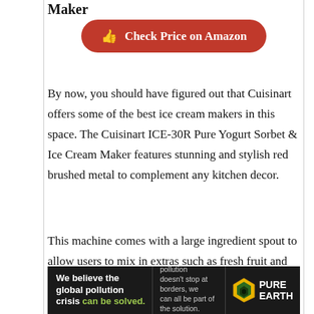Maker
[Figure (other): Red rounded button with thumbs-up icon: Check Price on Amazon]
By now, you should have figured out that Cuisinart offers some of the best ice cream makers in this space. The Cuisinart ICE-30R Pure Yogurt Sorbet & Ice Cream Maker features stunning and stylish red brushed metal to complement any kitchen decor.
This machine comes with a large ingredient spout to allow users to mix in extras such as fresh fruit and nuts during the process. This compact unit has some drawbacks, which
[Figure (other): Pure Earth advertisement banner: We believe the global pollution crisis can be solved. In a world where pollution doesn't stop at borders, we can all be part of the solution. JOIN US. Pure Earth logo.]